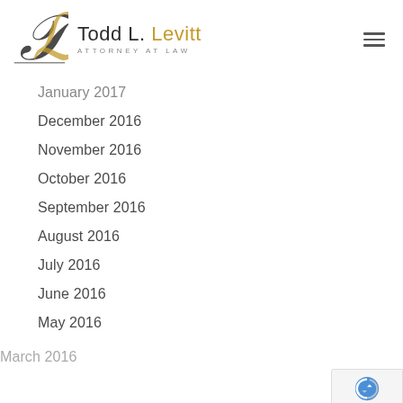Todd L. Levitt — Attorney at Law
January 2017
December 2016
November 2016
October 2016
September 2016
August 2016
July 2016
June 2016
May 2016
March 2016